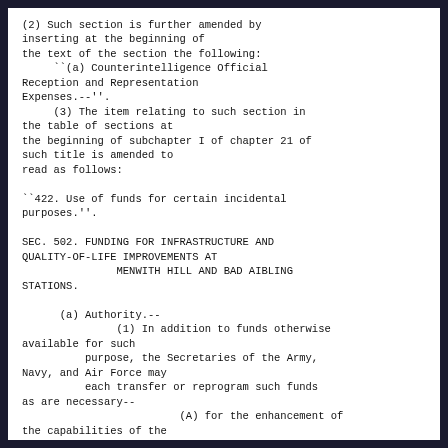(2) Such section is further amended by inserting at the beginning of the text of the section the following:
    ``(a) Counterintelligence Official Reception and Representation Expenses.--''.
    (3) The item relating to such section in the table of sections at the beginning of subchapter I of chapter 21 of such title is amended to read as follows:

``422. Use of funds for certain incidental purposes.''.

SEC. 502. FUNDING FOR INFRASTRUCTURE AND QUALITY-OF-LIFE IMPROVEMENTS AT
              MENWITH HILL AND BAD AIBLING STATIONS.

      (a) Authority.--
              (1) In addition to funds otherwise available for such
         purpose, the Secretaries of the Army, Navy, and Air Force may
         each transfer or reprogram such funds as are necessary--
                        (A) for the enhancement of the capabilities of the